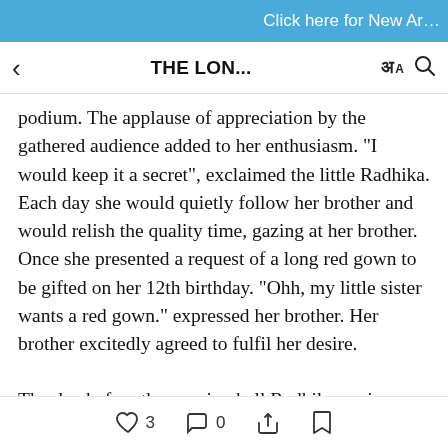Click here for New Ar…
< THE LON...
podium. The applause of appreciation by the gathered audience added to her enthusiasm. "I would keep it a secret", exclaimed the little Radhika. Each day she would quietly follow her brother and would relish the quality time, gazing at her brother. Once she presented a request of a long red gown to be gifted on her 12th birthday. "Ohh, my little sister wants a red gown." expressed her brother. Her brother excitedly agreed to fulfil her desire.
The day before the evening ball Radhika again
♡ 3   ◯ 0   share   bookmark